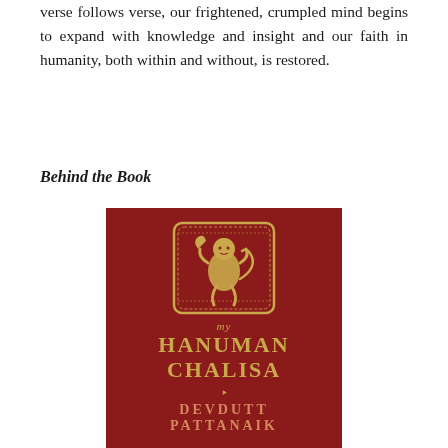verse follows verse, our frightened, crumpled mind begins to expand with knowledge and insight and our faith in humanity, both within and without, is restored.
Behind the Book
[Figure (photo): Book cover of 'My Hanuman Chalisa' by Devdutt Pattanaik. Dark red background with a golden emblem depicting Hanuman in the center, italic 'my' text below, large gold bold text 'HANUMAN CHALISA', a small decorative arrow divider, and 'DEVDUTT PATTANAIK' in salmon/orange text at the bottom.]